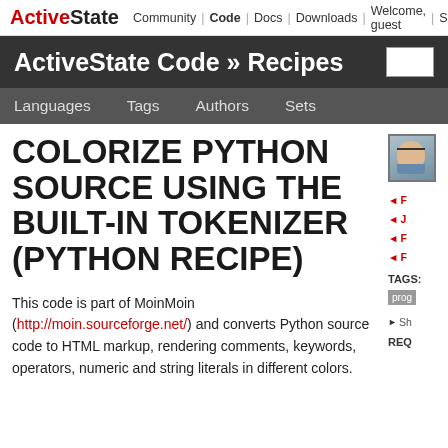ActiveState | Community | Code | Docs | Downloads | Welcome, guest | Sign
ActiveState Code » Recipes
Languages | Tags | Authors | Sets
COLORIZE PYTHON SOURCE USING THE BUILT-IN TOKENIZER (PYTHON RECIPE)
This code is part of MoinMoin (http://moin.sourceforge.net/) and converts Python source code to HTML markup, rendering comments, keywords, operators, numeric and string literals in different colors.
◄ F
◄ J
◄ F
◄ F
TAGS:
prog
► Sh
REQ